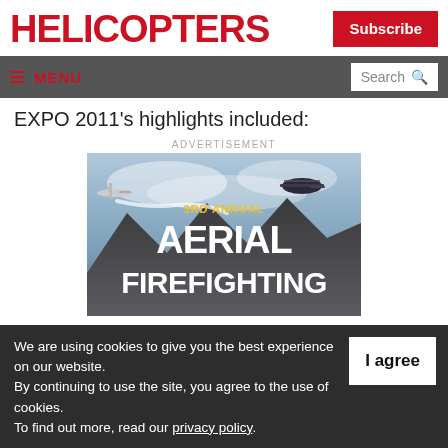HELICOPTERS
Subscribe
≡ MENU  Search
EXPO 2011's highlights included:
ADVERTISEMENT
[Figure (photo): Advertisement for 3rd Annual Aerial Firefighting featuring a fixed-wing aircraft and helicopter over mountains with text '3RD ANNUAL AERIAL FIREFIGHTING']
We are using cookies to give you the best experience on our website. By continuing to use the site, you agree to the use of cookies. To find out more, read our privacy policy.
I agree